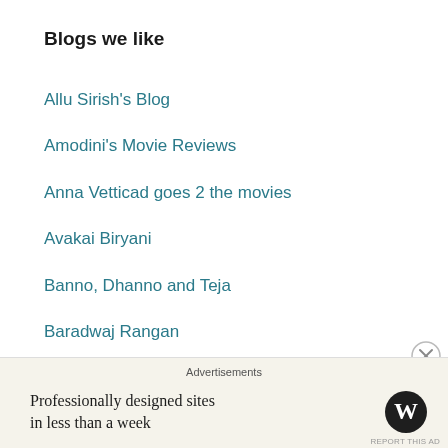Blogs we like
Allu Sirish's Blog
Amodini's Movie Reviews
Anna Vetticad goes 2 the movies
Avakai Biryani
Banno, Dhanno and Teja
Baradwaj Rangan
Beth Loves Bollywood
Bollystalgia
Confessions of a Filmmaker
Conversations over Chai
Dances on the Footpath
Dolce and Namak Talk Indian Movies
Advertisements
Professionally designed sites in less than a week